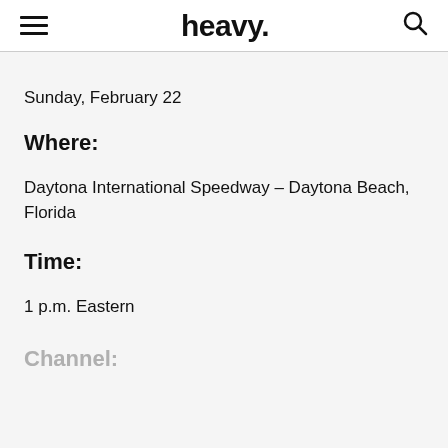heavy.
Sunday, February 22
Where:
Daytona International Speedway – Daytona Beach, Florida
Time:
1 p.m. Eastern
Channel: